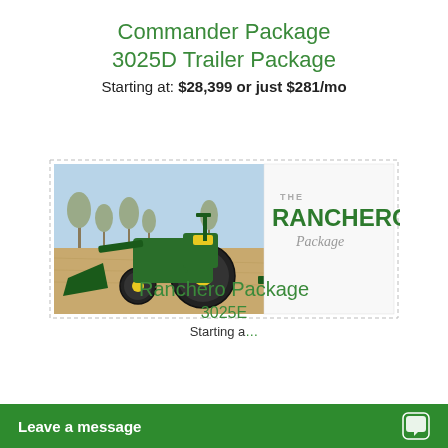Commander Package
3025D Trailer Package
Starting at: $28,399 or just $281/mo
[Figure (photo): The Ranchero Package promotional image showing a green John Deere 3025E tractor with front loader and rear attachment in a field, with 'THE RANCHERO Package' text overlay on the right side.]
Ranchero Package
3025E
Starting at
Leave a message